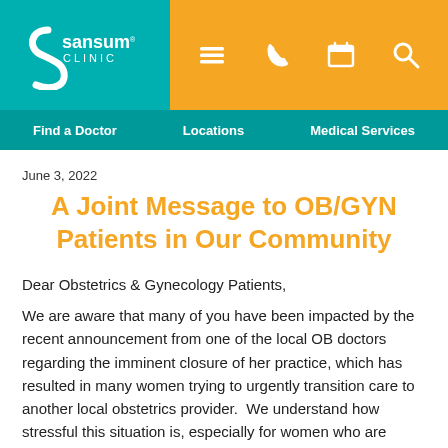[Figure (logo): Sansum Clinic logo on teal background with orange icon bar containing hamburger menu, phone, calendar, and search icons]
Find a Doctor   Locations   Medical Services
June 3, 2022
A Joint Message to OB/GYN Patients in Our Community
Dear Obstetrics & Gynecology Patients,
We are aware that many of you have been impacted by the recent announcement from one of the local OB doctors regarding the imminent closure of her practice, which has resulted in many women trying to urgently transition care to another local obstetrics provider.  We understand how stressful this situation is, especially for women who are currently pregnant and due to